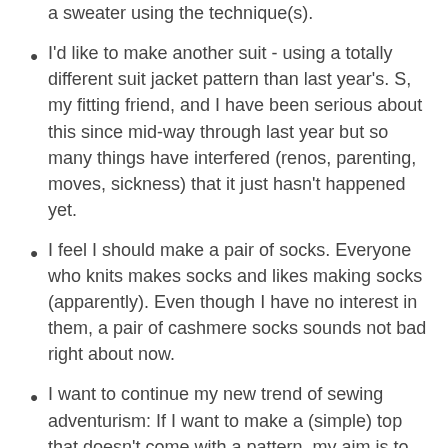I'd like to learn how to knit with colour work - intarsia or Fair Isle (eeek). Then I'd like to make a sweater using the technique(s).
I'd like to make another suit - using a totally different suit jacket pattern than last year's. S, my fitting friend, and I have been serious about this since mid-way through last year but so many things have interfered (renos, parenting, moves, sickness) that it just hasn't happened yet.
I feel I should make a pair of socks. Everyone who knits makes socks and likes making socks (apparently). Even though I have no interest in them, a pair of cashmere socks sounds not bad right about now.
I want to continue my new trend of sewing adventurism: If I want to make a (simple) top that doesn't come with a pattern, my aim is to give it a go. If a pattern I use turns out to be a dud, I intend to hack at it till I make it something that works for me. In 2012, I tried my hand at some